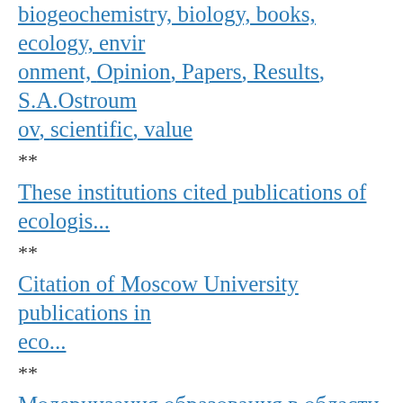biogeochemistry, biology, books, ecology, environment, Opinion, Papers, Results, S.A.Ostroumov, scientific, value
**
These institutions cited publications of ecologis...
**
Citation of Moscow University publications in eco...
**
Модернизация образования в области экологии, биоло...
**
Internet champs: most often viewed and read: sites...attracted attention, biology, ecotoxicology, hazards, Internet users, Most